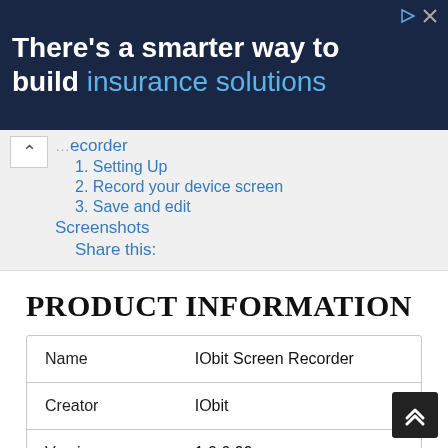[Figure (screenshot): Advertisement banner with dark navy background. Text reads: There's a smarter way to build insurance solutions]
ecorder
1. Setting Up
2. Record your device screen
3. Save and edit
Screenshots
Share this:
PRODUCT INFORMATION
|  |  |
| --- | --- |
| Name | IObit Screen Recorder |
| Creator | IObit |
| Version | 1.0.0.99 |
| Category | Productivity, Media Tools |